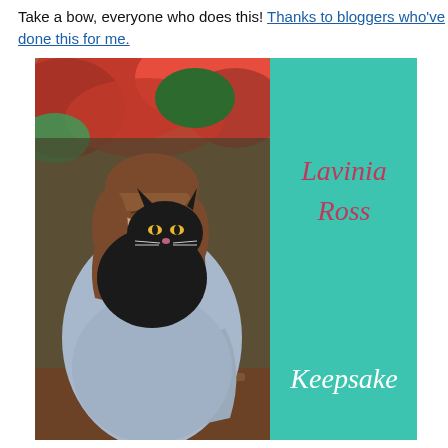Take a bow, everyone who does this! Thanks to bloggers who've done this for me.
[Figure (photo): Book cover for 'Keepsake' by Lavinia Ross. Left half shows a photo of a woman with brown hair holding a large black cat, with colorful autumn foliage in the background. Right half is teal/turquoise with the author name 'Lavinia Ross' in pink italic script and the title 'Keepsake' in white italic script.]